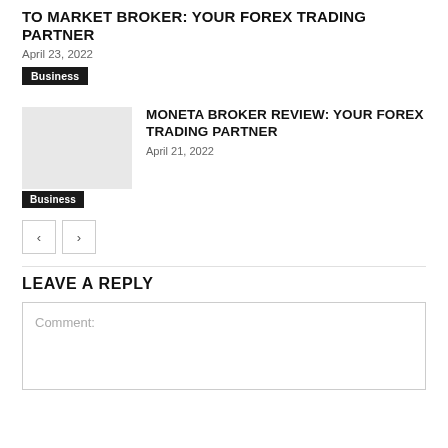TO MARKET BROKER: YOUR FOREX TRADING PARTNER
April 23, 2022
Business
MONETA BROKER REVIEW: YOUR FOREX TRADING PARTNER
April 21, 2022
Business
← →
LEAVE A REPLY
Comment: